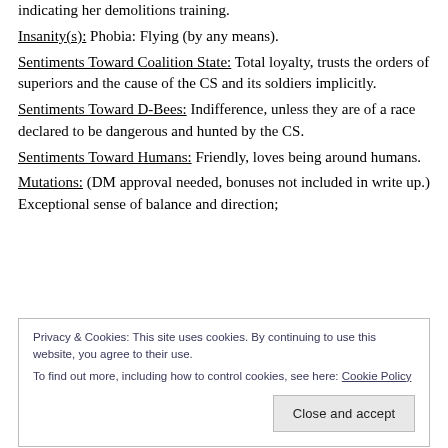indicating her demolitions training.
Insanity(s): Phobia: Flying (by any means).
Sentiments Toward Coalition State: Total loyalty, trusts the orders of superiors and the cause of the CS and its soldiers implicitly.
Sentiments Toward D-Bees: Indifference, unless they are of a race declared to be dangerous and hunted by the CS.
Sentiments Toward Humans: Friendly, loves being around humans.
Mutations: (DM approval needed, bonuses not included in write up.) Exceptional sense of balance and direction;
Privacy & Cookies: This site uses cookies. By continuing to use this website, you agree to their use. To find out more, including how to control cookies, see here: Cookie Policy